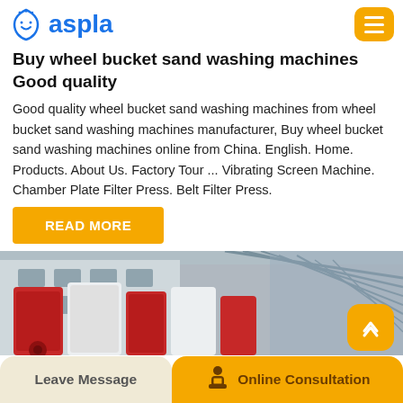aspla
Buy wheel bucket sand washing machines Good quality
Good quality wheel bucket sand washing machines from wheel bucket sand washing machines manufacturer, Buy wheel bucket sand washing machines online from China. English. Home. Products. About Us. Factory Tour ... Vibrating Screen Machine. Chamber Plate Filter Press. Belt Filter Press.
READ MORE
[Figure (photo): Industrial factory interior showing red and white machinery equipment with large red components and a roof structure visible]
[Figure (infographic): Leave Message and Online Consultation bottom navigation bar with consultation icon]
[Figure (other): Yellow scroll-to-top button with upward arrow icon]